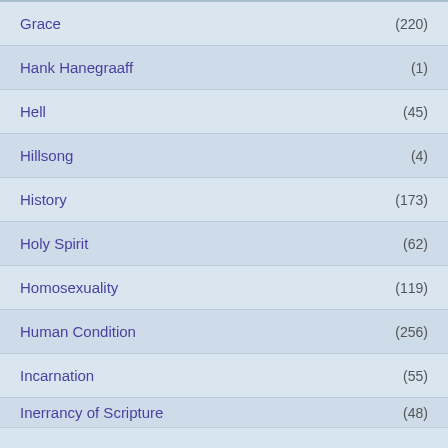Grace (220)
Hank Hanegraaff (1)
Hell (45)
Hillsong (4)
History (173)
Holy Spirit (62)
Homosexuality (119)
Human Condition (256)
Incarnation (55)
Inerrancy of Scripture (48)